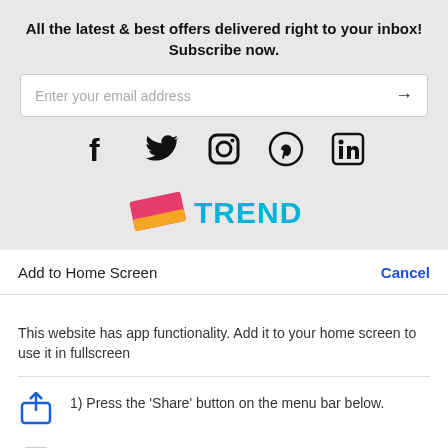All the latest & best offers delivered right to your inbox! Subscribe now.
[Figure (screenshot): Email subscription input box with placeholder text 'Enter your email address' and a right arrow button]
[Figure (infographic): Social media icons: Facebook, Twitter, Instagram, Pinterest, LinkedIn]
[Figure (logo): TREND brand logo with colorful ticket icon]
Add to Home Screen
Cancel
This website has app functionality. Add it to your home screen to use it in fullscreen
1) Press the 'Share' button on the menu bar below.
2) Press 'Add to Home Screen'.